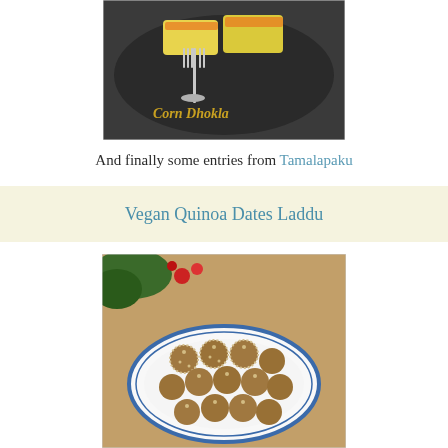[Figure (photo): Photo of Corn Dhokla on a dark plate with a fork, text 'Corn Dhokla' in golden letters on the image]
And finally some entries from Tamalapaku
Vegan Quinoa Dates Laddu
[Figure (photo): Photo of Vegan Quinoa Dates Laddu — round brown balls coated in desiccated coconut, arranged on a white plate with blue pattern, with flowers and green leaves in the background]